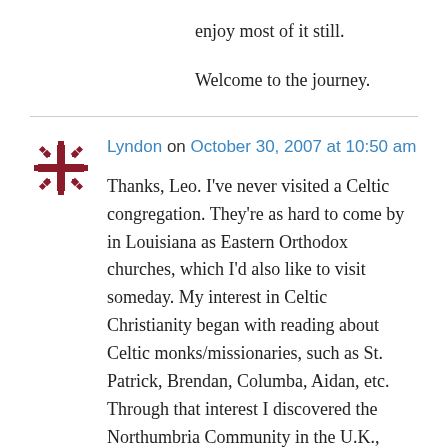enjoy most of it still.
Welcome to the journey.
Lyndon on October 30, 2007 at 10:50 am
Thanks, Leo. I've never visited a Celtic congregation. They're as hard to come by in Louisiana as Eastern Orthodox churches, which I'd also like to visit someday. My interest in Celtic Christianity began with reading about Celtic monks/missionaries, such as St. Patrick, Brendan, Columba, Aidan, etc. Through that interest I discovered the Northumbria Community in the U.K., which has released a U.S. version of Celtic Daily Prayer with the help